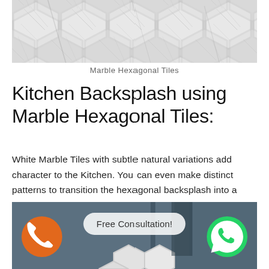[Figure (photo): White marble hexagonal tiles arranged in a grid pattern, showing natural grey veining on white marble surface]
Marble Hexagonal Tiles
Kitchen Backsplash using Marble Hexagonal Tiles:
White Marble Tiles with subtle natural variations add character to the Kitchen. You can even make distinct patterns to transition the hexagonal backsplash into a painted wall.
[Figure (photo): Kitchen or bathroom interior with grey painted wall and white marble hexagonal tiles. Overlaid with an orange phone call button on the left, a 'Free Consultation!' pill button in the center, and a green WhatsApp button on the right.]